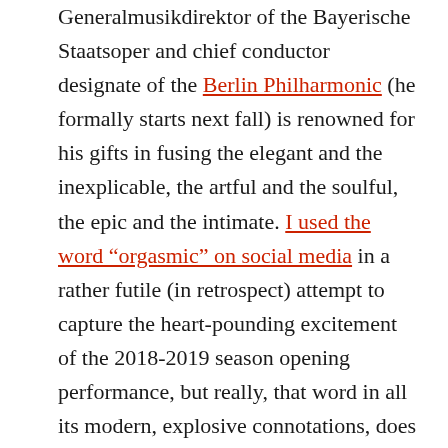Generalmusikdirektor of the Bayerische Staatsoper and chief conductor designate of the Berlin Philharmonic (he formally starts next fall) is renowned for his gifts in fusing the elegant and the inexplicable, the artful and the soulful, the epic and the intimate. I used the word “orgasmic” on social media in a rather futile (in retrospect) attempt to capture the heart-pounding excitement of the 2018-2019 season opening performance, but really, that word in all its modern, explosive connotations, does not remotely capture its magic. What made this performance so very special was that Petrenko took essentially well-known repertoire and didn’t churn it out for easy effect, but plumbed several layers of sonic depth out of a deep and very clear love of the scores, the music, and the art form; he